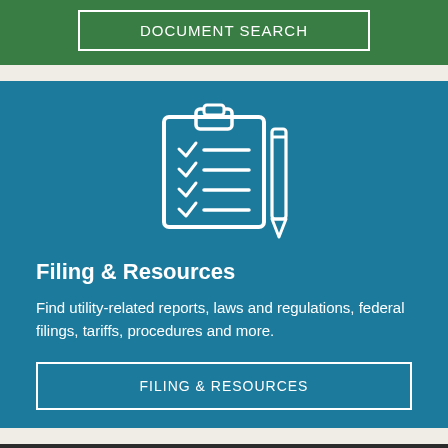DOCUMENT SEARCH
[Figure (illustration): White line-art icon of a clipboard with checklist and a pen/pencil on a blue background]
Filing & Resources
Find utility-related reports, laws and regulations, federal filings, tariffs, procedures and more.
FILING & RESOURCES
[Figure (illustration): White line-art icon of file folders on a dark background]